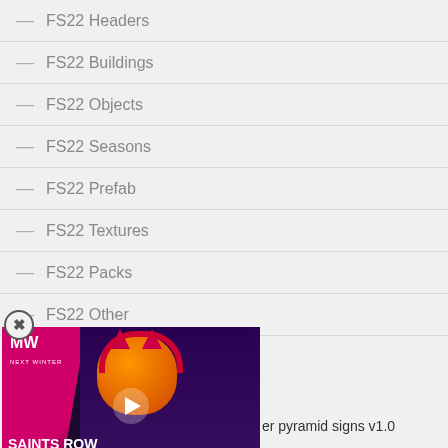— FS22 Headers
— FS22 Buildings
— FS22 Objects
— FS22 Seasons
— FS22 Prefab
— FS22 Textures
— FS22 Packs
— FS22 Other
[Figure (screenshot): Video advertisement overlay for Saints Row Gameplay Trailer by MW (Next Winter). Shows a character with pumpkin head and cat ears with a play button in center. Pink/magenta branding with dark background.]
er pyramid signs v1.0
MAN TGS LX v1.0